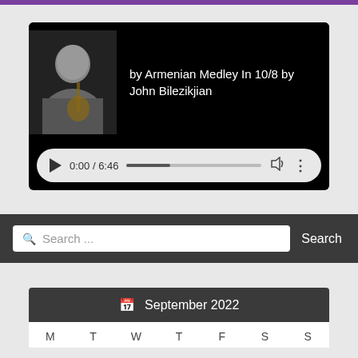[Figure (screenshot): Audio media player with black background showing a photo of John Bilezikjian holding an instrument, with title 'by Armenian Medley In 10/8 by John Bilezikjian' and playback controls showing 0:00 / 6:46]
Search ...
Search
🗓 September 2022
| M | T | W | T | F | S | S |
| --- | --- | --- | --- | --- | --- | --- |